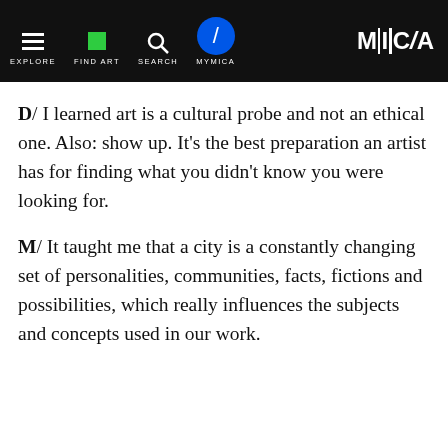EXPLORE | FIND ART | SEARCH | MYMICA | M|C/A
D/ I learned art is a cultural probe and not an ethical one. Also: show up. It's the best preparation an artist has for finding what you didn't know you were looking for.
M/ It taught me that a city is a constantly changing set of personalities, communities, facts, fictions and possibilities, which really influences the subjects and concepts used in our work.